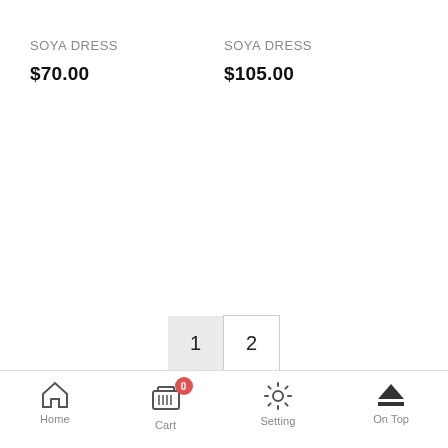SOYA DRESS
$70.00
SOYA DRESS
$105.00
[Figure (other): Pagination buttons showing page 1 (active, gray background) and page 2 (outlined border)]
Home  Cart (0)  Setting  On Top